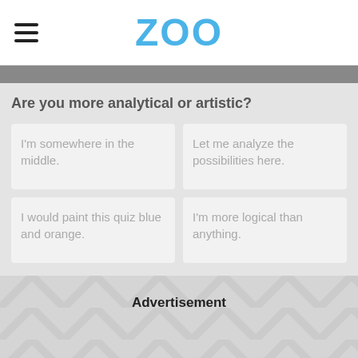ZOO
Are you more analytical or artistic?
I'm somewhere in the middle.
Let me analyze the possibilities here.
I would paint this quiz blue and orange.
I'm more logical than anything.
Advertisement